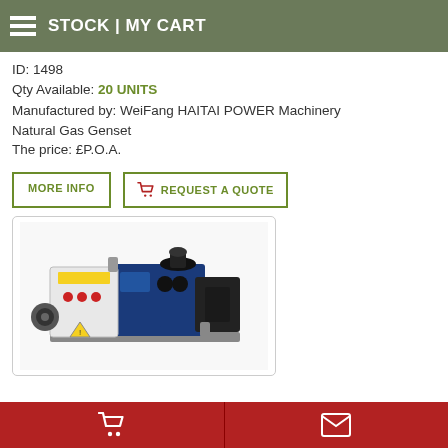STOCK | MY CART
ID: 1498
Qty Available: 20 UNITS
Manufactured by: WeiFang HAITAI POWER Machinery
Natural Gas Genset
The price: £P.O.A.
[Figure (photo): Natural gas genset product photo — industrial generator set with white control panel box (with yellow warning label and red buttons), blue engine, and black alternator/cooling components mounted on frame]
Shopping cart icon | Envelope/mail icon